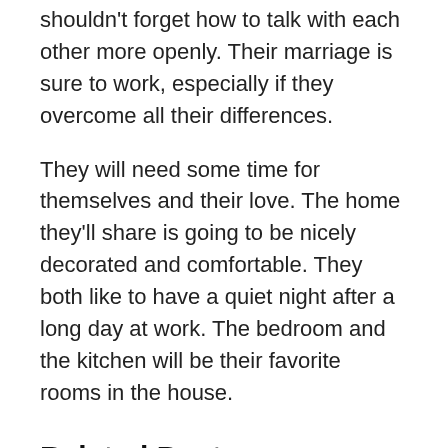shouldn't forget how to talk with each other more openly. Their marriage is sure to work, especially if they overcome all their differences.
They will need some time for themselves and their love. The home they'll share is going to be nicely decorated and comfortable. They both like to have a quiet night after a long day at work. The bedroom and the kitchen will be their favorite rooms in the house.
Related Posts:
Libra man Cancer woman
Libra man Cancer woman
Unspoken Attraction Between Two People: How To Let Go